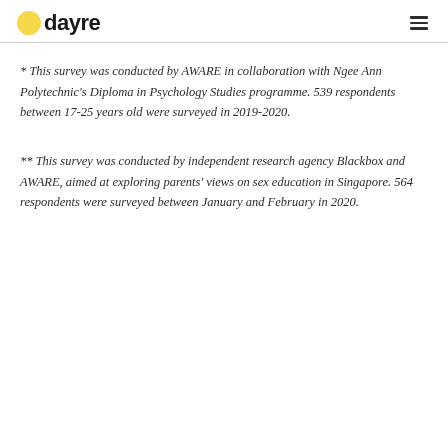dayre
* This survey was conducted by AWARE in collaboration with Ngee Ann Polytechnic's Diploma in Psychology Studies programme. 539 respondents between 17-25 years old were surveyed in 2019-2020.
** This survey was conducted by independent research agency Blackbox and AWARE, aimed at exploring parents' views on sex education in Singapore. 564 respondents were surveyed between January and February in 2020.